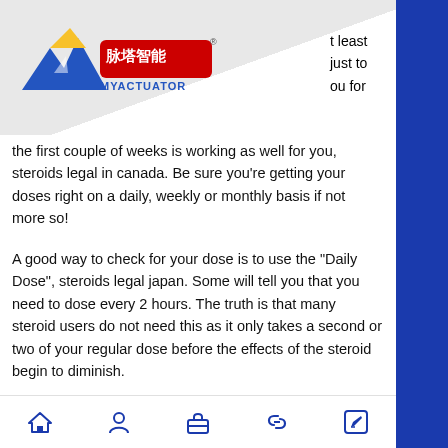[Figure (logo): Myactuator logo with mountain/M shape in blue and yellow, Chinese text 脉塔智能 and MYACTUATOR brand name with registered trademark symbol]
t least
just to
ou for
the first couple of weeks is working as well for you, steroids legal in canada. Be sure you're getting your doses right on a daily, weekly or monthly basis if not more so!
A good way to check for your dose is to use the "Daily Dose", steroids legal japan. Some will tell you that you need to dose every 2 hours. The truth is that many steroid users do not need this as it only takes a second or two of your regular dose before the effects of the steroid begin to diminish.
There are also various supplements available on the market that may work for
Home | Profile | Briefcase | Link | Edit